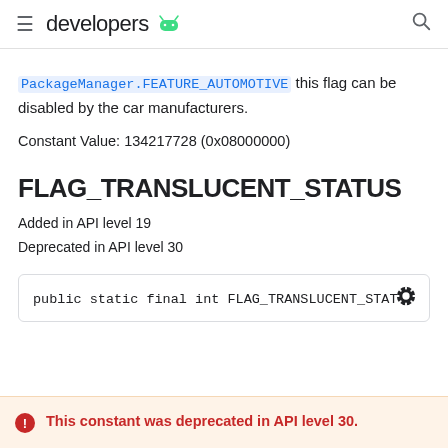developers (Android logo)
PackageManager.FEATURE_AUTOMOTIVE this flag can be disabled by the car manufacturers.
Constant Value: 134217728 (0x08000000)
FLAG_TRANSLUCENT_STATUS
Added in API level 19
Deprecated in API level 30
public static final int FLAG_TRANSLUCENT_STATUS
This constant was deprecated in API level 30.